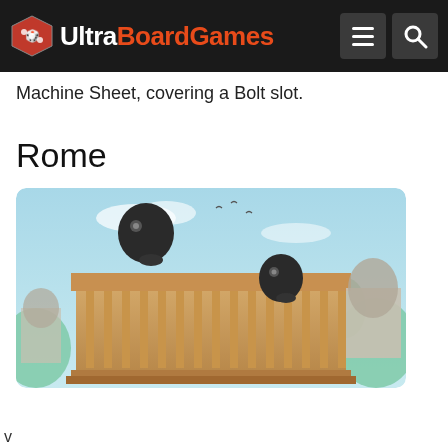[Figure (screenshot): UltraBoardGames website navigation bar with logo, hamburger menu icon, and search icon on dark background]
Machine Sheet, covering a Bolt slot.
Rome
[Figure (illustration): Illustrated image of Rome showing a classical building with columns and robot-like figures, in a stylized artistic rendering with a light blue sky background]